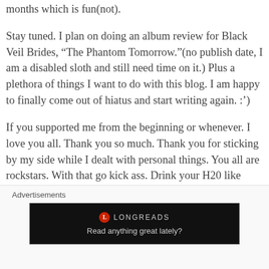months which is fun(not).
Stay tuned. I plan on doing an album review for Black Veil Brides, “The Phantom Tomorrow.”(no publish date, I am a disabled sloth and still need time on it.) Plus a plethora of things I want to do with this blog. I am happy to finally come out of hiatus and start writing again. :')
If you supported me from the beginning or whenever. I love you all. Thank you so much. Thank you for sticking by my side while I dealt with personal things. You all are rockstars. With that go kick ass. Drink your H20 like Bobby Bushay wants you to. Eat your potatoes. Never give in. Never back down.
Advertisements
[Figure (screenshot): Longreads advertisement banner with logo and tagline 'Read anything great lately?' on black background]